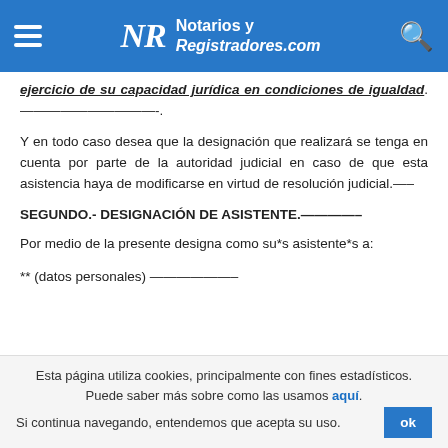Notarios y Registradores.com
ejercicio de su capacidad jurídica en condiciones de igualdad.——————————-
Y en todo caso desea que la designación que realizará se tenga en cuenta por parte de la autoridad judicial en caso de que esta asistencia haya de modificarse en virtud de resolución judicial.—–
SEGUNDO.- DESIGNACIÓN DE ASISTENTE.————–
Por medio de la presente designa como su*s asistente*s a:
** (datos personales) ——————–
Esta página utiliza cookies, principalmente con fines estadísticos. Puede saber más sobre como las usamos aquí. Si continua navegando, entendemos que acepta su uso.